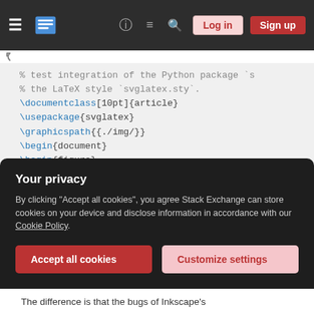[Figure (screenshot): Stack Exchange website navigation bar with hamburger menu, logo, question mark, speech bubble, search icon, Log in and Sign up buttons]
% test integration of the Python package `s
% the LaTeX style `svglatex.sty`.
\documentclass[10pt]{article}
\usepackage{svglatex}
\graphicspath{{./img/}}
\begin{document}
\begin{figure}
    \centering
    \includesvg[width=0.6\textwidth]{./img/
\caption{Nice caption.}
\label{fig:label}
\end{figure}
Your privacy
By clicking "Accept all cookies", you agree Stack Exchange can store cookies on your device and disclose information in accordance with our Cookie Policy.
Accept all cookies
Customize settings
The difference is that the bugs of Inkscape's